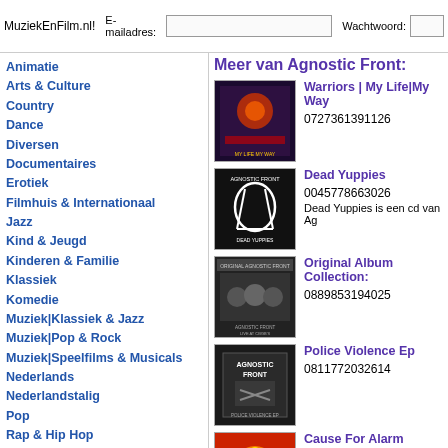MuziekEnFilm.nl! E-mailadres: [input] Wachtwoord: [input]
Animatie
Arts & Culture
Country
Dance
Diversen
Documentaires
Erotiek
Filmhuis & Internationaal
Jazz
Kind & Jeugd
Kinderen & Familie
Klassiek
Komedie
Muziek|Klassiek & Jazz
Muziek|Pop & Rock
Muziek|Speelfilms & Musicals
Nederlands
Nederlandstalig
Pop
Rap & Hip Hop
Religieus
Rock & Alternative
Romantiek & Drama
Scifi, Fantasy & Horror
Soundtracks & Musicals
Meer van Agnostic Front:
[Figure (photo): Album cover: Warriors | My Life|My Way - colorful Agnostic Front album]
Warriors | My Life|My Way
0727361391126
[Figure (photo): Album cover: Dead Yuppies - black cover with chalk outline figure]
Dead Yuppies
0045778663026
Dead Yuppies is een cd van Ag
[Figure (photo): Album cover: Original Album Collection - Agnostic Front black and white band photo]
Original Album Collection:
0889853194025
[Figure (photo): Album cover: Police Violence Ep - Agnostic Front dark cover]
Police Violence Ep
0811772032614
[Figure (photo): Album cover: Cause For Alarm - colorful Agnostic Front album]
Cause For Alarm
5051099600126